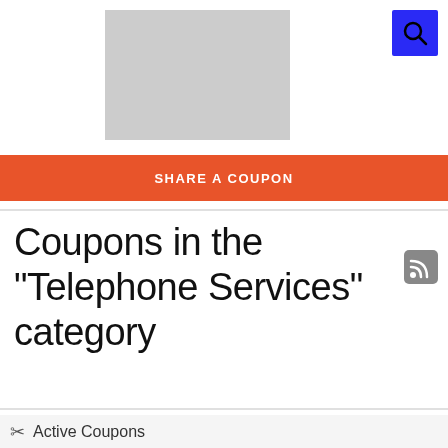[Figure (other): Gray rectangular placeholder image/logo area in the header]
[Figure (other): Blue search button with magnifying glass icon in top-right corner]
SHARE A COUPON
Coupons in the "Telephone Services" category
[Figure (other): RSS feed icon (gray rounded square with RSS symbol)]
Active Coupons   Total: 29